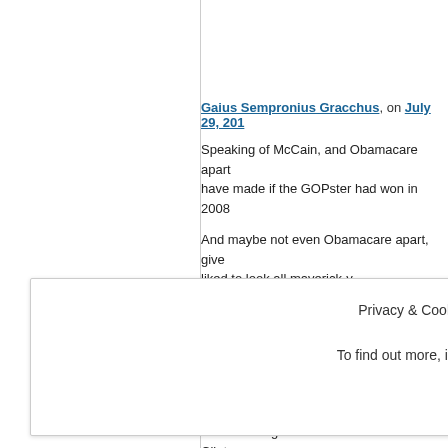Gaius Sempronius Gracchus, on July 29, 201...
Speaking of McCain, and Obamacare apart... have made if the GOPster had won in 2008...
And maybe not even Obamacare apart, give... liked to look all maverick-y.
Maybe the guy we got was the real McSam...
Is it just me, or does it seem the GOP is reg... have the White House in their column?
Who can forget the US House vs. Bill Clinto...
paper doll, on July 29, 2011 at 8:17 am...
Privacy & Cookies: This site uses cookies. By continuing to use this website, you agree to their use. To find out more, including how to control cookies, see here: Cookie Policy
Close and accept